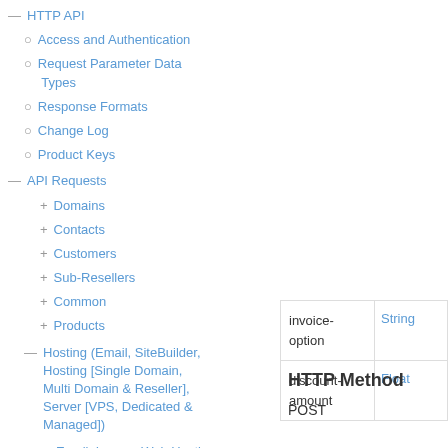— HTTP API
○ Access and Authentication
○ Request Parameter Data Types
○ Response Formats
○ Change Log
○ Product Keys
— API Requests
+ Domains
+ Contacts
+ Customers
+ Sub-Resellers
+ Common
+ Products
— Hosting (Email, SiteBuilder, Hosting [Single Domain, Multi Domain & Reseller], Server [VPS, Dedicated & Managed])
Email, Legacy Web Hosting
|  |  |
| --- | --- |
| invoice-option | String |
| discount-amount | Float |
HTTP Method
POST